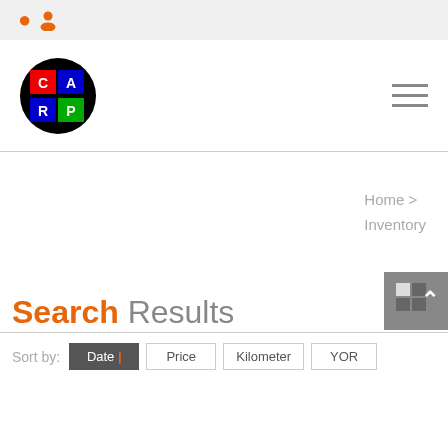User icon (profile)
[Figure (logo): CAR APP logo: circular black background with colorful grid letters C, A, R, P, P]
Home > Inventory
Search Results
Sort by: Date | Price Kilometer YOR